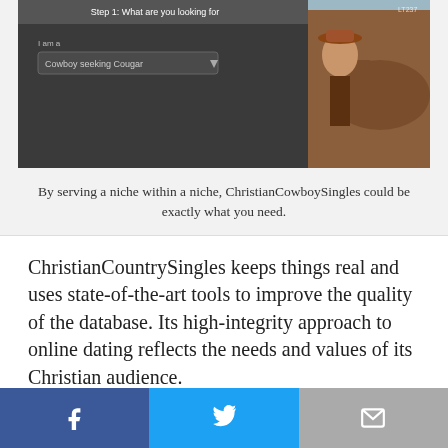[Figure (screenshot): Screenshot of ChristianCowboySingles website with a woman in a cowboy hat next to a horse]
By serving a niche within a niche, ChristianCowboySingles could be exactly what you need.
ChristianCountrySingles keeps things real and uses state-of-the-art tools to improve the quality of the database. Its high-integrity approach to online dating reflects the needs and values of its Christian audience.
As the team says, “We believe the future of online dating lies in sites being tailored to particular interests, hobbies, or clearly specified member needs — but this can only be truly successful if managed via a large worldwide group
Facebook Twitter Email social share buttons